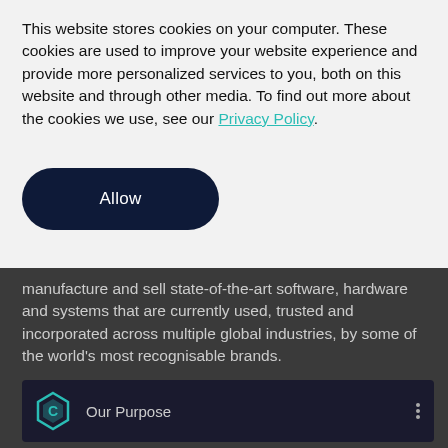This website stores cookies on your computer. These cookies are used to improve your website experience and provide more personalized services to you, both on this website and through other media. To find out more about the cookies we use, see our Privacy Policy.
Allow
manufacture and sell state-of-the-art software, hardware and systems that are currently used, trusted and incorporated across multiple global industries, by some of the world's most recognisable brands.
[Figure (screenshot): Video thumbnail with hexagon logo icon and title 'Our Purpose' on dark background]